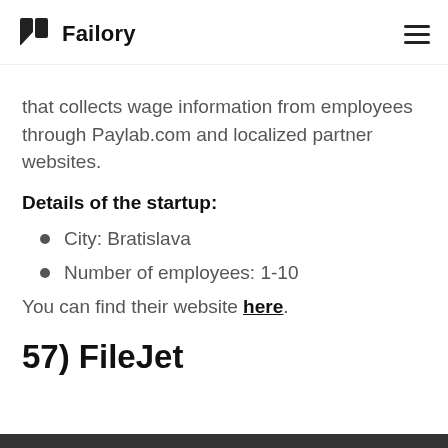Failory
that collects wage information from employees through Paylab.com and localized partner websites.
Details of the startup:
City: Bratislava
Number of employees: 1-10
You can find their website here.
57) FileJet